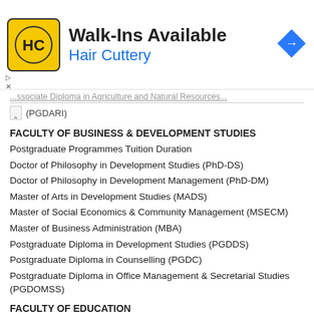[Figure (infographic): Hair Cuttery advertisement banner with logo, 'Walk-Ins Available' heading, and navigation arrow icon]
...ssociate Diploma in Agriculture and Natural Resources... (PGDARI)
FACULTY OF BUSINESS & DEVELOPMENT STUDIES
Postgraduate Programmes Tuition Duration
Doctor of Philosophy in Development Studies (PhD-DS)
Doctor of Philosophy in Development Management (PhD-DM)
Master of Arts in Development Studies (MADS)
Master of Social Economics & Community Management (MSECM)
Master of Business Administration (MBA)
Postgraduate Diploma in Development Studies (PGDDS)
Postgraduate Diploma in Counselling (PGDC)
Postgraduate Diploma in Office Management & Secretarial Studies (PGDOMSS)
FACULTY OF EDUCATION
Postgraduate Programmes Tuition Duration